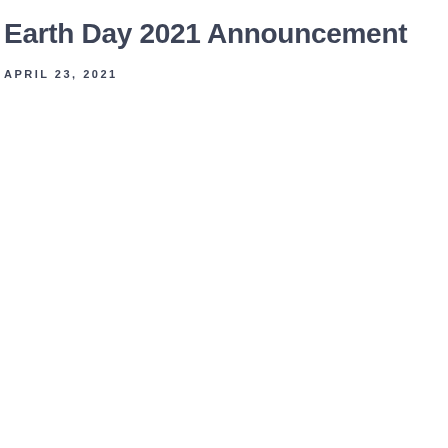Earth Day 2021 Announcement
APRIL 23, 2021